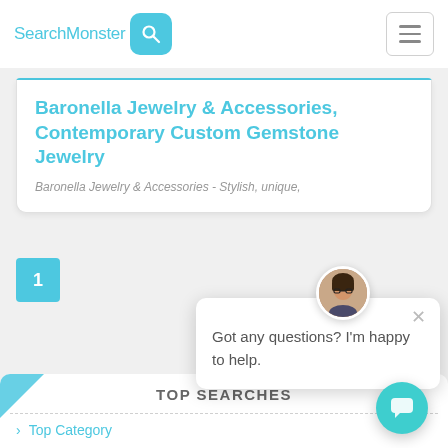SearchMonster [search icon] [hamburger menu]
Baronella Jewelry & Accessories, Contemporary Custom Gemstone Jewelry
Baronella Jewelry & Accessories - Stylish, unique,
1
[Figure (screenshot): Chat popup with avatar of a woman with glasses, close button (x), and text: Got any questions? I'm happy to help.]
TOP SEARCHES
> Top Category